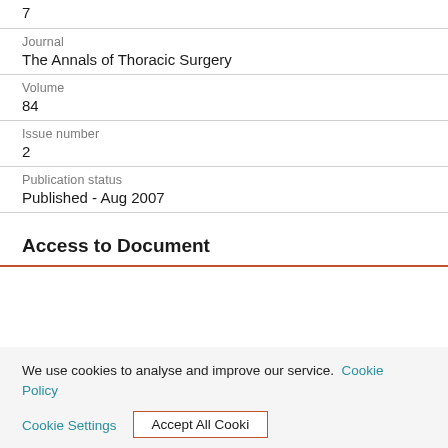7
Journal
The Annals of Thoracic Surgery
Volume
84
Issue number
2
Publication status
Published - Aug 2007
Access to Document
We use cookies to analyse and improve our service. Cookie Policy
Cookie Settings   Accept All Cookies